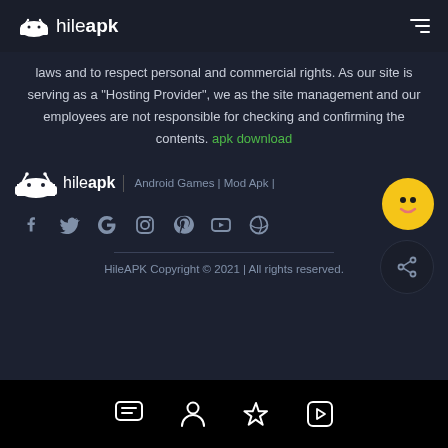hileapk
laws and to respect personal and commercial rights. As our site is serving as a "Hosting Provider", we as the site management and our employees are not responsible for checking and confirming the contents. apk download
[Figure (logo): HileAPK logo with Android robot icon and bold text. Tagline: Android Games | Mod Apk |]
[Figure (infographic): Row of social media icons: Facebook, Twitter, Google, Instagram, Pinterest, YouTube, Dribbble. Yellow smiley emoji button on right. Dark share button below.]
HileAPK Copyright © 2021 | All rights reserved.
[Figure (infographic): Bottom navigation bar with four icons: chat/message, person/profile, star/favorites, play button]